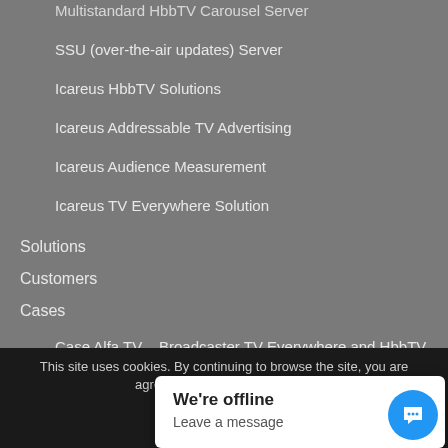Multistandard HbbTV Carousel Server
SSU (over-the-air updates) Server
Icareus HbbTV Solutions
Icareus Addressable TV Advertising
Icareus Audience Measurement
Icareus TV Everywhere Solution
Solutions
Customers
Cases
Case Alfa TV – Broadcaster TV Everywhere and HbbTV
This site uses cookies. By continuing to browse the site, you are agreeing to our use of cookies.
We're offline
Leave a message